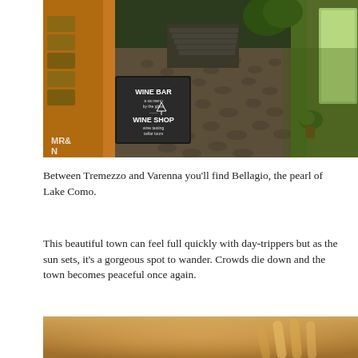[Figure (photo): A cobblestone street in Bellagio with a wine bar and wine shop sign on a chalkboard, warm golden storefronts on the left, green-lit buildings on the right, steps leading upward in the background.]
Between Tremezzo and Varenna you'll find Bellagio, the pearl of Lake Como.
This beautiful town can feel full quickly with day-trippers but as the sun sets, it's a gorgeous spot to wander. Crowds die down and the town becomes peaceful once again.
[Figure (photo): Close-up blurred photo of warm golden tones, possibly breadsticks or similar food items with a shallow depth of field.]